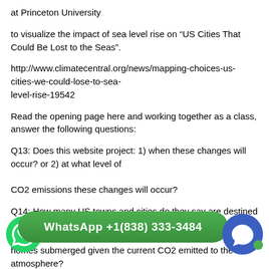at Princeton University
to visualize the impact of sea level rise on “US Cities That Could Be Lost to the Seas”.
http://www.climatecentral.org/news/mapping-choices-us-cities-we-could-lose-to-sea-level-rise-19542
Read the opening page here and working together as a class, answer the following questions:
Q13: Does this website project: 1) when these changes will occur? or 2) at what level of CO2 emissions these changes will occur?
Q14: How many US towns and cities do they say are destined to have most of their homes submerged given the current CO2 emitted to the atmosphere?
Q15: How many US towns and cities do they calculate could have